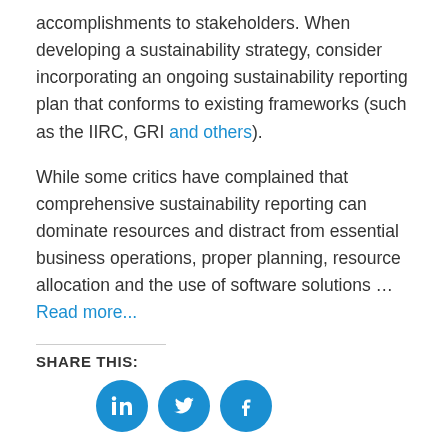accomplishments to stakeholders. When developing a sustainability strategy, consider incorporating an ongoing sustainability reporting plan that conforms to existing frameworks (such as the IIRC, GRI and others).
While some critics have complained that comprehensive sustainability reporting can dominate resources and distract from essential business operations, proper planning, resource allocation and the use of software solutions … Read more...
SHARE THIS:
[Figure (other): Social media share icons: LinkedIn, Twitter, Facebook]
Posted in Environmental & Sustainability Management | Tagged environmental, environmental management, environmental sustainability, management, metrics, reporting, ROI, software,